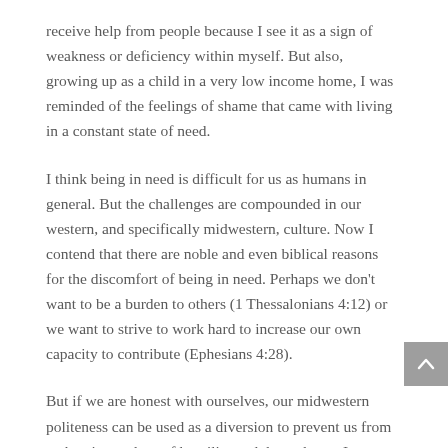receive help from people because I see it as a sign of weakness or deficiency within myself. But also, growing up as a child in a very low income home, I was reminded of the feelings of shame that came with living in a constant state of need.
I think being in need is difficult for us as humans in general. But the challenges are compounded in our western, and specifically midwestern, culture. Now I contend that there are noble and even biblical reasons for the discomfort of being in need. Perhaps we don't want to be a burden to others (1 Thessalonians 4:12) or we want to strive to work hard to increase our own capacity to contribute (Ephesians 4:28).
But if we are honest with ourselves, our midwestern politeness can be used as a diversion to prevent us from embracing a place of humility and dependence. It can be a way to save face and avoid looking inadequate or perhaps inferior.